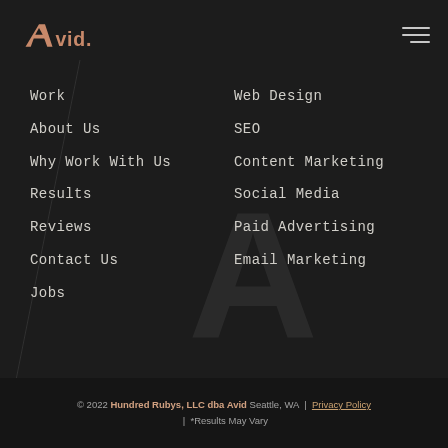Avid. [logo] [hamburger menu]
Work
Web Design
About Us
SEO
Why Work With Us
Content Marketing
Results
Social Media
Reviews
Paid Advertising
Contact Us
Email Marketing
Jobs
© 2022 Hundred Rubys, LLC dba Avid Seattle, WA | Privacy Policy | *Results May Vary